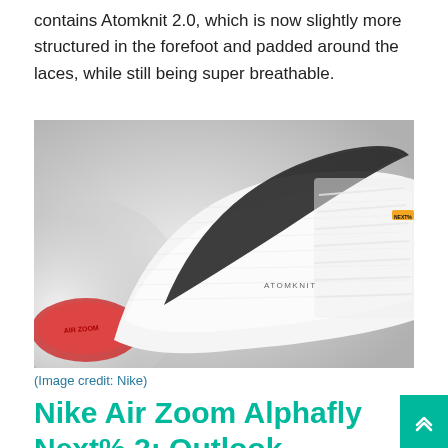contains Atomknit 2.0, which is now slightly more structured in the forefoot and padded around the laces, while still being super breathable.
[Figure (photo): Close-up photo of a white Nike running shoe showing the Atomknit upper material with black Nike swoosh logo, laces, and a red Air Zoom midsole visible at the bottom. The word ATOMKNIT is embossed on the side. An orange Nike label is visible near the tongue.]
(Image credit: Nike)
Nike Air Zoom Alphafly Next% 2: Outlook